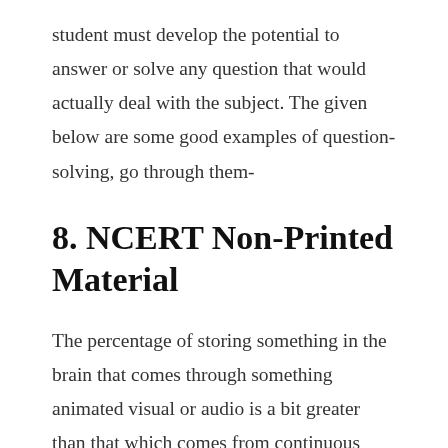student must develop the potential to answer or solve any question that would actually deal with the subject. The given below are some good examples of question-solving, go through them-
8. NCERT Non-Printed Material
The percentage of storing something in the brain that comes through something animated visual or audio is a bit greater than that which comes from continuous learning by just seeing the book or a copy. As the main